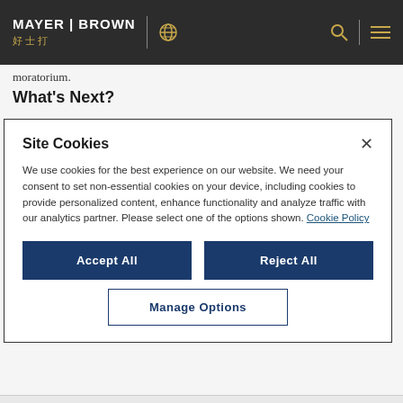MAYER BROWN 好士打
moratorium.
What's Next?
[Figure (screenshot): Cookie consent modal dialog with title 'Site Cookies', body text about cookie usage, Accept All and Reject All buttons, and Manage Options button]
Site Cookies
We use cookies for the best experience on our website. We need your consent to set non-essential cookies on your device, including cookies to provide personalized content, enhance functionality and analyze traffic with our analytics partner. Please select one of the options shown. Cookie Policy